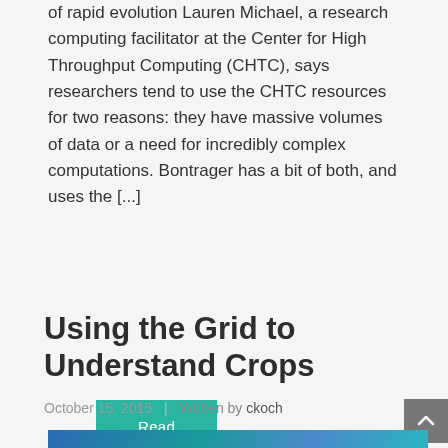of rapid evolution Lauren Michael, a research computing facilitator at the Center for High Throughput Computing (CHTC), says researchers tend to use the CHTC resources for two reasons: they have massive volumes of data or a need for incredibly complex computations. Bontrager has a bit of both, and uses the [...]
Read More
Using the Grid to Understand Crops
October 15, 2015  |  Written by ckoch
[Figure (photo): Partial view of an article image with blue-teal tones, cropped at bottom of page]